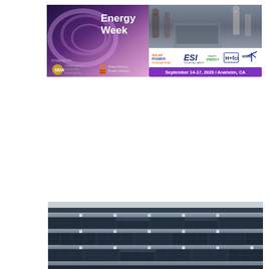[Figure (illustration): Clean Energy Week banner advertisement with two sections: left side shows dark purple/violet gradient background with 'Energy Week' title text and SEIA and Smart Electric Power Alliance logos at bottom; right side shows a trade show floor photo with Solar Power International, ESI, Smart Energy, H+fci, and wind brand logos, and a purple bar reading 'September 14-17, 2020 / Anaheim, CA']
[Figure (photo): Close-up photograph of rooftop solar panels (photovoltaic modules) arranged in rows, showing dark blue/black panel surfaces with aluminum racking and mounting hardware visible between panel rows, shot from a low angle]